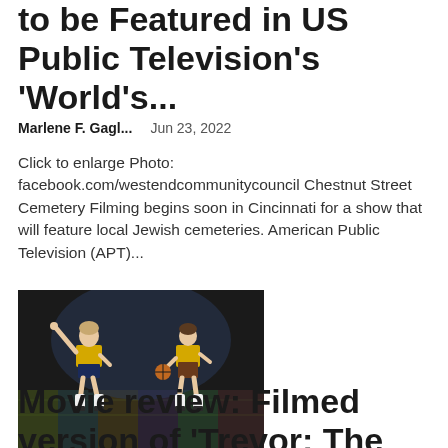to be Featured in US Public Television's 'World's...
Marlene F. Gagl...    Jun 23, 2022
Click to enlarge Photo: facebook.com/westendcommunitycouncil Chestnut Street Cemetery Filming begins soon in Cincinnati for a show that will feature local Jewish cemeteries. American Public Television (APT)...
[Figure (photo): Two performers on stage in yellow and navy basketball uniforms. One has arm raised, the other holds a basketball. Stage has colorful floor.]
Movie review: Filmed version of 'Trevor: The Musical' shows